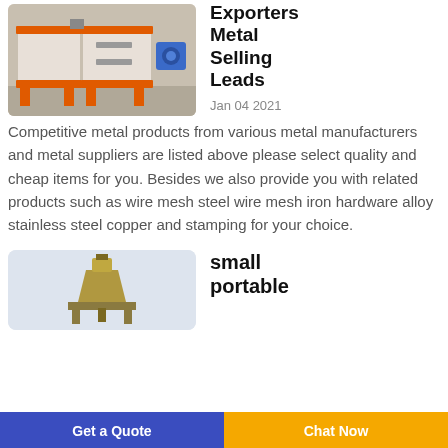[Figure (photo): Industrial metal shredder machine with orange frame and blue motor, on a factory floor.]
Exporters Metal Selling Leads
Jan 04 2021
Competitive metal products from various metal manufacturers and metal suppliers are listed above please select quality and cheap items for you. Besides we also provide you with related products such as wire mesh steel wire mesh iron hardware alloy stainless steel copper and stamping for your choice.
[Figure (photo): Small portable metal processing machine on a stand, light background.]
small portable
Get a Quote  Chat Now